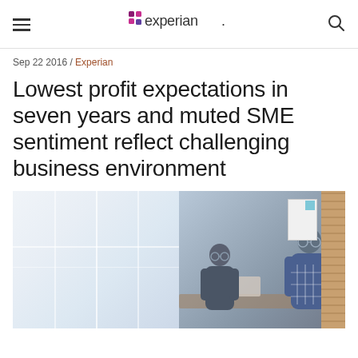experian.
Sep 22 2016 / Experian
Lowest profit expectations in seven years and muted SME sentiment reflect challenging business environment
[Figure (photo): Two people (man and woman wearing glasses) working together at a desk with a laptop in a bright office with large windows and a brick wall in the background.]